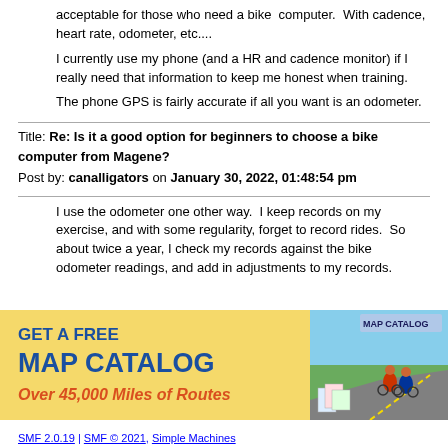acceptable for those who need a bike  computer.  With cadence, heart rate, odometer, etc....
I currently use my phone (and a HR and cadence monitor) if I really need that information to keep me honest when training.
The phone GPS is fairly accurate if all you want is an odometer.
Title: Re: Is it a good option for beginners to choose a bike computer from Magene?
Post by: canalligators on January 30, 2022, 01:48:54 pm
I use the odometer one other way.  I keep records on my exercise, and with some regularity, forget to record rides.  So about twice a year, I check my records against the bike odometer readings, and add in adjustments to my records.
[Figure (illustration): Advertisement banner: GET A FREE MAP CATALOG - Over 45,000 Miles of Routes, with image of cyclists on a road]
SMF 2.0.19 | SMF © 2021, Simple Machines